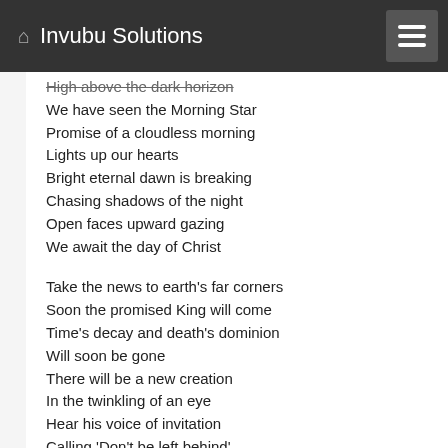Invubu Solutions
High above the dark horizon
We have seen the Morning Star
Promise of a cloudless morning
Lights up our hearts
Bright eternal dawn is breaking
Chasing shadows of the night
Open faces upward gazing
We await the day of Christ

Take the news to earth's far corners
Soon the promised King will come
Time's decay and death's dominion
Will soon be gone
There will be a new creation
In the twinkling of an eye
Hear his voice of invitation
Calling 'Don't be left behind'